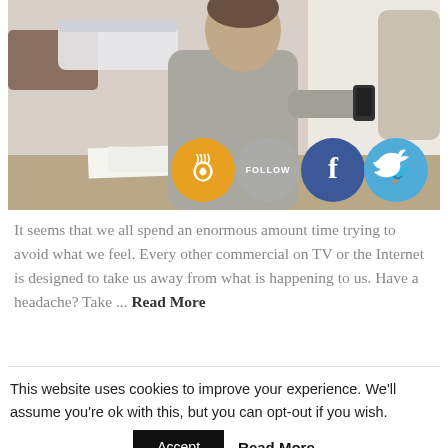[Figure (photo): Photo of people at a table, one handing papers, another checking wristwatch. Social media icons (RSS, Follow, Facebook, Twitter) overlaid at bottom of image.]
It seems that we all spend an enormous amount time trying to avoid what we feel. Every other commercial on TV or the Internet is designed to take us away from what is happening to us. Have a headache? Take ... Read More
This website uses cookies to improve your experience. We'll assume you're ok with this, but you can opt-out if you wish. Accept Read More